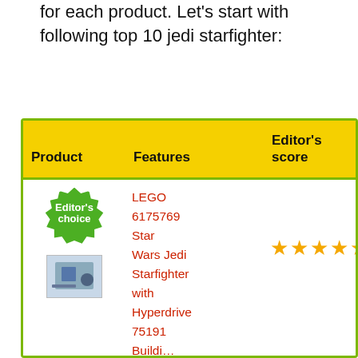for each product. Let's start with following top 10 jedi starfighter:
| Product | Features | Editor's score | Go to site |
| --- | --- | --- | --- |
| [Editor's choice badge] [product image] | LEGO 6175769 Star Wars Jedi Starfighter with Hyperdrive 75191 Buildi… | ★★★★★ | Go to amaz… |